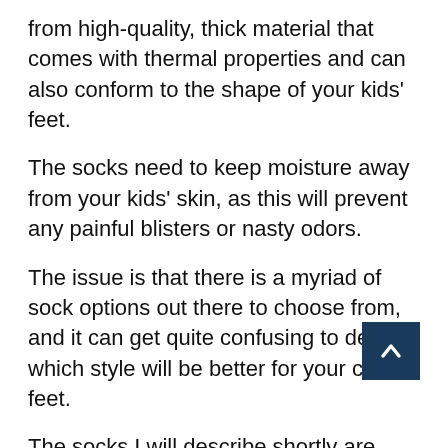from high-quality, thick material that comes with thermal properties and can also conform to the shape of your kids' feet.
The socks need to keep moisture away from your kids' skin, as this will prevent any painful blisters or nasty odors.
The issue is that there is a myriad of sock options out there to choose from, and it can get quite confusing to decide which style will be better for your child's feet.
The socks I will describe shortly are great at keeping your kids' feet toasty warm, helping resist odors, and keeping their feet dry by moving moisture away at a vapor level.
Socks are also available in different lengths: ankle, calf-length, and up to the knee. I recommend ankle